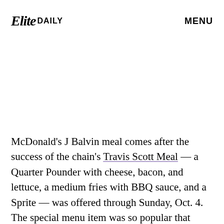Elite DAILY   MENU
McDonald's J Balvin meal comes after the success of the chain's Travis Scott Meal — a Quarter Pounder with cheese, bacon, and lettuce, a medium fries with BBQ sauce, and a Sprite — was offered through Sunday, Oct. 4. The special menu item was so popular that McDonald's even faced some ingredient